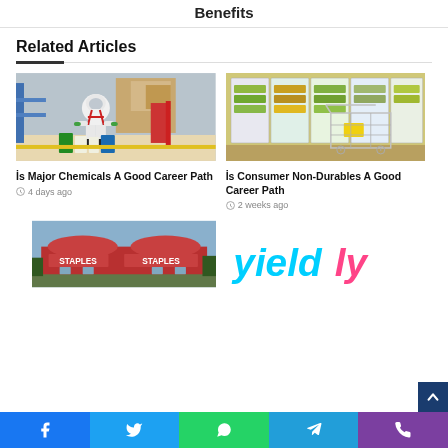Benefits
Related Articles
[Figure (photo): Person in white hazmat suit with respirator crouching next to chemical containers in a warehouse]
İs Major Chemicals A Good Career Path
4 days ago
[Figure (photo): Grocery store refrigerated aisle with a shopping cart in the foreground]
İs Consumer Non-Durables A Good Career Path
2 weeks ago
[Figure (photo): Exterior of a Staples store building with red signage]
[Figure (logo): Yieldly logo in cyan and pink lettering]